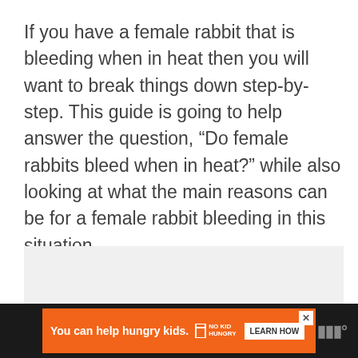If you have a female rabbit that is bleeding when in heat then you will want to break things down step-by-step. This guide is going to help answer the question, “Do female rabbits bleed when in heat?” while also looking at what the main reasons can be for a female rabbit bleeding in this situation.
[Figure (other): Gray advertisement placeholder box]
[Figure (other): Advertisement banner at bottom: orange background with text 'You can help hungry kids.' No Kid Hungry logo, Learn How button, and WW logo on dark background]